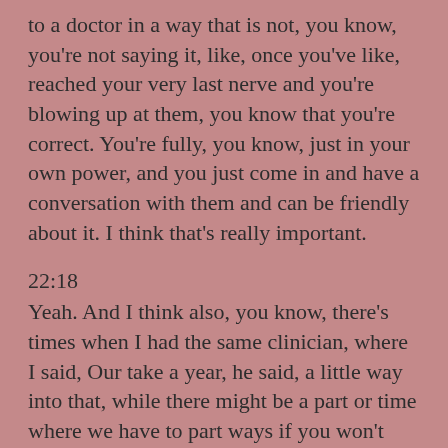to a doctor in a way that is not, you know, you're not saying it, like, once you've like, reached your very last nerve and you're blowing up at them, you know that you're correct. You're fully, you know, just in your own power, and you just come in and have a conversation with them and can be friendly about it. I think that's really important.
22:18
Yeah. And I think also, you know, there's times when I had the same clinician, where I said, Our take a year, he said, a little way into that, while there might be a part or time where we have to part ways if you won't take my treatment. And I want to be super honest about this, I did not take that seriously, because it was something that if I had would be frightening, and I thought I get his position. But we've got